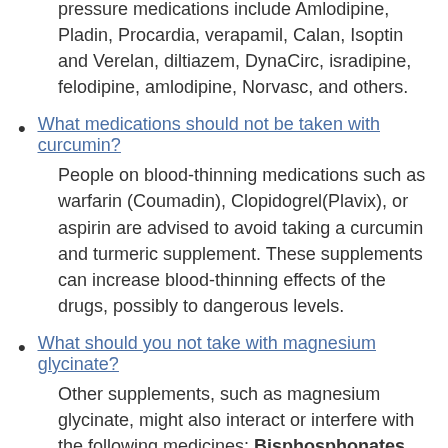pressure medications include Amlodipine, Pladin, Procardia, verapamil, Calan, Isoptin and Verelan, diltiazem, DynaCirc, isradipine, felodipine, amlodipine, Norvasc, and others.
What medications should not be taken with curcumin?
People on blood-thinning medications such as warfarin (Coumadin), Clopidogrel(Plavix), or aspirin are advised to avoid taking a curcumin and turmeric supplement. These supplements can increase blood-thinning effects of the drugs, possibly to dangerous levels.
What should you not take with magnesium glycinate?
Other supplements, such as magnesium glycinate, might also interact or interfere with the following medicines: Bisphosphonates. These